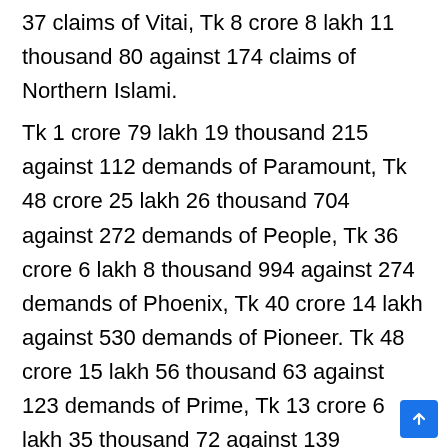37 claims of Vitai, Tk 8 crore 8 lakh 11 thousand 80 against 174 claims of Northern Islami.
Tk 1 crore 79 lakh 19 thousand 215 against 112 demands of Paramount, Tk 48 crore 25 lakh 26 thousand 704 against 272 demands of People, Tk 36 crore 6 lakh 8 thousand 994 against 274 demands of Phoenix, Tk 40 crore 14 lakh against 530 demands of Pioneer. Tk 48 crore 15 lakh 56 thousand 63 against 123 demands of Prime, Tk 13 crore 6 lakh 35 thousand 72 against 139 demands of Prabhati,
Tk 5 crore 94 thousand 565 against 116 demands of Eastern General, Tk 8 crore 40 lakh 84 thousand 230 against 155 demands of Republic, Tk 5 crore 13 lakh 26 thousand 190 against 316 demands of Rupali, Tk 4 crore 48 lakh 3 thousand 499 against 60 demands of army welfare. Tk 9 crore 82 lakh 8 thousand 628 against 25